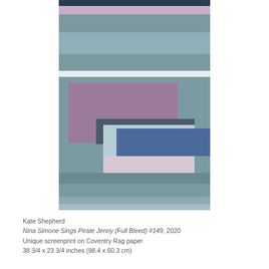[Figure (illustration): Abstract screenprint artwork showing horizontal color bands in muted teals, grays, purples, and blues with nested rectangular shapes overlapping in the center portion of the composition. Colors include dark navy at top, then lavender/pink, teal-gray bands, white band, teal with purple rectangle, dark gray, light blue overlapping rectangles with a bold blue band, and lighter blue-gray/pink at bottom, ending with more teal-gray bands.]
Kate Shepherd
Nina Simone Sings Pirate Jenny (Full Bleed) #149, 2020
Unique screenprint on Coventry Rag paper
38 3/4 x 23 3/4 inches (98.4 x 60.3 cm)